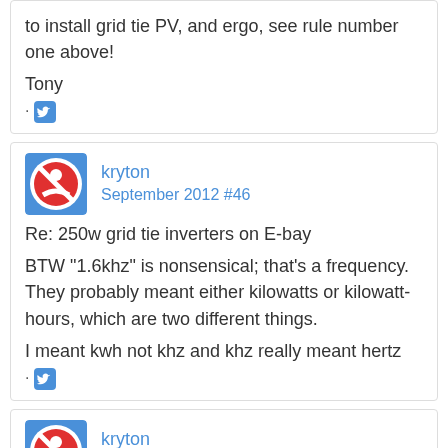to install grid tie PV, and ergo, see rule number one above!
Tony
· [twitter icon]
kryton
September 2012 #46
Re: 250w grid tie inverters on E-bay
BTW "1.6khz" is nonsensical; that's a frequency. They probably meant either kilowatts or kilowatt-hours, which are two different things.
I meant kwh not khz and khz really meant hertz
· [twitter icon]
kryton
September 2012 #47
Re: 250w grid tie inverters on E-bay